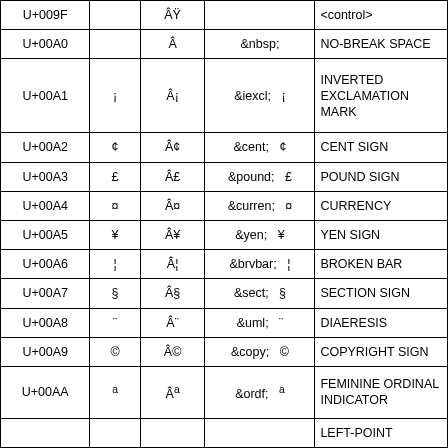| Code | Char | Encoded | HTML Entity | Name |
| --- | --- | --- | --- | --- |
| U+009F |  | Â |  | <control> |
| U+00A0 |  | Â | &nbsp; | NO-BREAK SPACE |
| U+00A1 | ¡ | Â¡ | &iexcl;  ¡ | INVERTED EXCLAMATION MARK |
| U+00A2 | ¢ | Â¢ | &cent;  ¢ | CENT SIGN |
| U+00A3 | £ | Â£ | &pound;  £ | POUND SIGN |
| U+00A4 | ¤ | Â¤ | &curren;  ¤ | CURRENCY |
| U+00A5 | ¥ | Â¥ | &yen;  ¥ | YEN SIGN |
| U+00A6 | ¦ | Â¦ | &brvbar;  ¦ | BROKEN BAR |
| U+00A7 | § | Â§ | &sect;  § | SECTION SIGN |
| U+00A8 | ¨ | Â¨ | &uml;  ¨ | DIAERESIS |
| U+00A9 | © | Â© | &copy;  © | COPYRIGHT SIGN |
| U+00AA | ª | Âª | &ordf;  ª | FEMININE ORDINAL INDICATOR |
| U+00AB |  |  |  | LEFT-POINT |